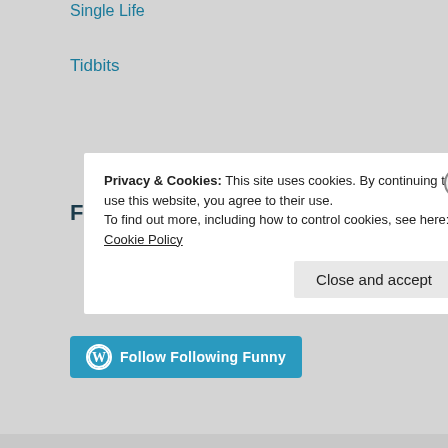Single Life
Tidbits
Following Funny Facebook
[Figure (other): Follow Following Funny button — WordPress-style teal button with W icon and text 'Follow Following Funny']
Privacy & Cookies: This site uses cookies. By continuing to use this website, you agree to their use. To find out more, including how to control cookies, see here: Cookie Policy
Close and accept